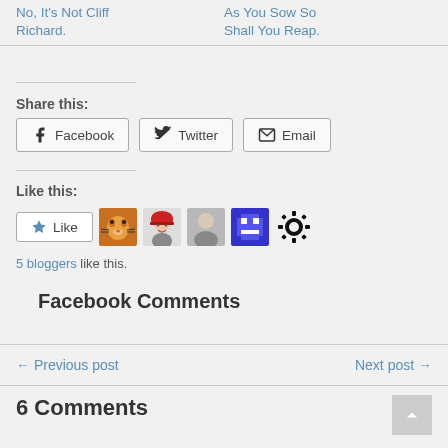No, It's Not Cliff Richard.
As You Sow So Shall You Reap.
Share this:
Facebook  Twitter  Email
Like this:
Like  5 bloggers like this.
Facebook Comments
← Previous post    Next post →
6 Comments